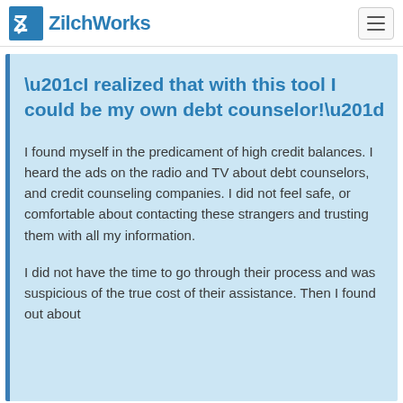ZilchWorks
“I realized that with this tool I could be my own debt counselor!”
I found myself in the predicament of high credit balances. I heard the ads on the radio and TV about debt counselors, and credit counseling companies. I did not feel safe, or comfortable about contacting these strangers and trusting them with all my information.
I did not have the time to go through their process and was suspicious of the true cost of their assistance. Then I found out about